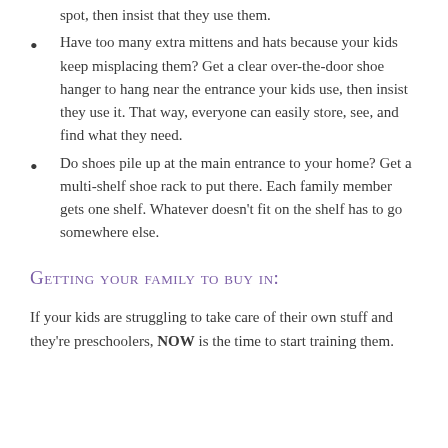spot, then insist that they use them.
Have too many extra mittens and hats because your kids keep misplacing them? Get a clear over-the-door shoe hanger to hang near the entrance your kids use, then insist they use it. That way, everyone can easily store, see, and find what they need.
Do shoes pile up at the main entrance to your home? Get a multi-shelf shoe rack to put there. Each family member gets one shelf. Whatever doesn’t fit on the shelf has to go somewhere else.
Getting your family to buy in:
If your kids are struggling to take care of their own stuff and they’re preschoolers, NOW is the time to start training them.